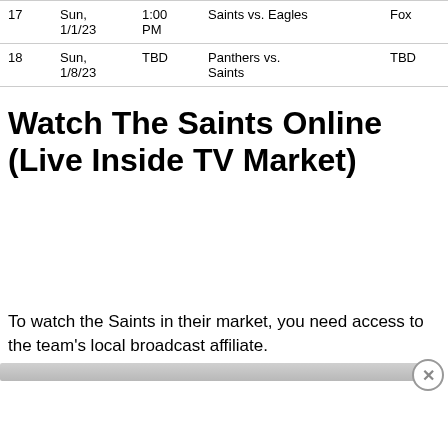| # | Date | Time | Matchup | Network |
| --- | --- | --- | --- | --- |
| 17 | Sun, 1/1/23 | 1:00 PM | Saints vs. Eagles | Fox |
| 18 | Sun, 1/8/23 | TBD | Panthers vs. Saints | TBD |
Watch The Saints Online (Live Inside TV Market)
To watch the Saints in their market, you need access to the team's local broadcast affiliate.